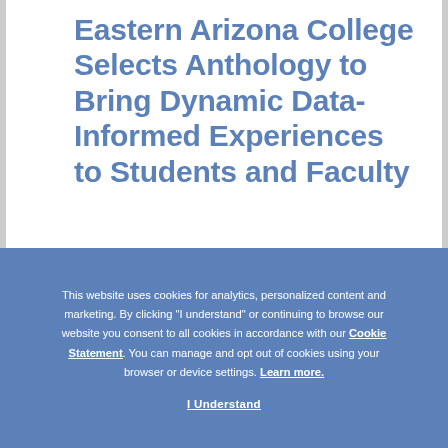Eastern Arizona College Selects Anthology to Bring Dynamic Data-Informed Experiences to Students and Faculty
This website uses cookies for analytics, personalized content and marketing. By clicking "I understand" or continuing to browse our website you consent to all cookies in accordance with our Cookie Statement. You can manage and opt out of cookies using your browser or device settings. Learn more.
I Understand